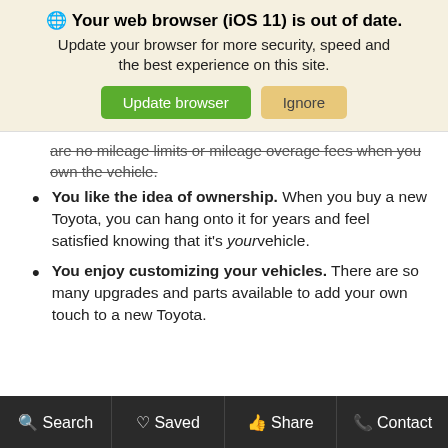[Figure (screenshot): Browser update notification banner with globe icon, title 'Your web browser (iOS 11) is out of date.', subtitle text, and two buttons: 'Update browser' (green) and 'Ignore' (tan/yellow)]
are no mileage limits or mileage overage fees when you own the vehicle.
You like the idea of ownership. When you buy a new Toyota, you can hang onto it for years and feel satisfied knowing that it's your vehicle.
You enjoy customizing your vehicles. There are so many upgrades and parts available to add your own touch to a new Toyota.
Search   Saved   Share   Contact